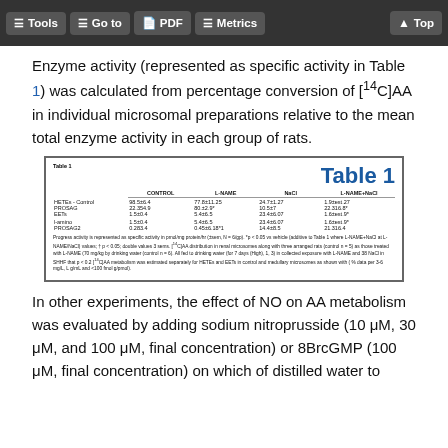Tools | Go to | PDF | Metrics | Top
Enzyme activity (represented as specific activity in Table 1) was calculated from percentage conversion of [¹⁴C]AA in individual microsomal preparations relative to the mean total enzyme activity in each group of rats.
|  | CONTROL | L-NAME | NaCl | L-NAME+NaCl |
| --- | --- | --- | --- | --- |
| HETEs - Control | 98.5±6.4 | 77.8±11.25 | 24.7±1.27 | 1.9±est.27 |
| PROSAG | 22.354.9 | 80.±2.9* | 10.5±7 | 22.316.8* |
| EETs | 1.5±0.4 | 5.4±6.5 | 23.4±6.07 | 1.6±est.9* |
| PROSAG2 | 0.283.4 | 0.45±6.18*1 | 14.4±8.5 | 21.316.4 |
In other experiments, the effect of NO on AA metabolism was evaluated by adding sodium nitroprusside (10 μM, 30 μM, and 100 μM, final concentration) or 8BrcGMP (100 μM, final concentration) on which of distilled water to